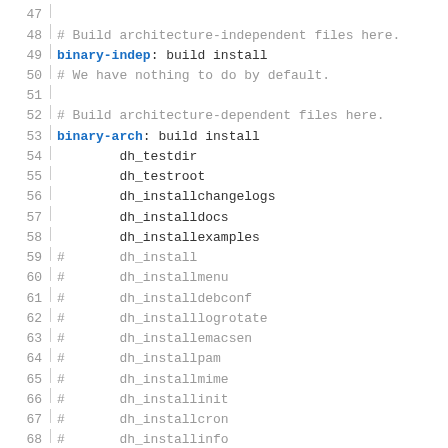Code listing lines 47-76, Makefile/build script content showing binary-indep and binary-arch targets with dh_ helper commands
47  (empty)
48  # Build architecture-independent files here.
49  binary-indep: build install
50  # We have nothing to do by default.
51  (empty)
52  # Build architecture-dependent files here.
53  binary-arch: build install
54          dh_testdir
55          dh_testroot
56          dh_installchangelogs
57          dh_installdocs
58          dh_installexamples
59  #       dh_install
60  #       dh_installmenu
61  #       dh_installdebconf
62  #       dh_installlogrotate
63  #       dh_installemacsen
64  #       dh_installpam
65  #       dh_installmime
66  #       dh_installinit
67  #       dh_installcron
68  #       dh_installinfo
69          dh_installman
70          dh_link
71          dh_strip
72          dh_compress
73          dh_fixperms
74  #       dh_perl
75  #       dh_python
76  #       dh_makeshlibs